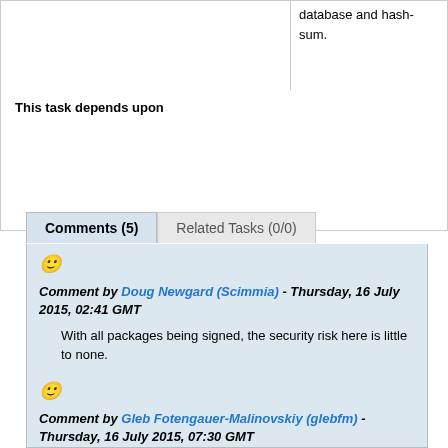database and hash-sum.
This task depends upon
Comments (5)
Related Tasks (0/0)
Comment by Doug Newgard (Scimmia) - Thursday, 16 July 2015, 02:41 GMT
With all packages being signed, the security risk here is little to none.
Comment by Gleb Fotengauer-Malinovskiy (glebfm) - Thursday, 16 July 2015, 07:30 GMT
Signature doesn't make package trusted if it is outdated. With signed index, you can be sure all packages are newest as of {last modification time of index} (which should probably be a part of signed index file).

Mirror can keep database with all upgrades, but with old vulnerable version openssl. Signed, but vulnerable.

Furthermore, I just found out this:
[root@hopper tmp]# grep ^Server /etc/pacman.d/mirrorlist